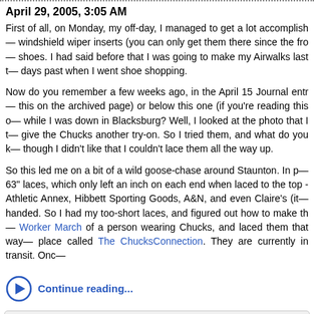April 29, 2005, 3:05 AM
First of all, on Monday, my off-day, I managed to get a lot accomplished — windshield wiper inserts (you can only get them there since the fro— shoes. I had said before that I was going to make my Airwalks last th— days past when I went shoe shopping.
Now do you remember a few weeks ago, in the April 15 Journal entr— this on the archived page) or below this one (if you're reading this o— while I was down in Blacksburg? Well, I looked at the photo that I t— give the Chucks another try-on. So I tried them, and what do you k— though I didn't like that I couldn't lace them all the way up.
So this led me on a bit of a wild goose-chase around Staunton. In p— 63" laces, which only left an inch on each end when laced to the top - Athletic Annex, Hibbett Sporting Goods, A&N, and even Claire's (it— handed. So I had my too-short laces, and figured out how to make th— Worker March of a person wearing Chucks, and laced them that way— place called The ChucksConnection. They are currently in transit. Onc—
Continue reading...
Categories: DC trips, Driving, Shoes, Shopping, Toyota Previa
I still don't understand...
April 21, 2005, 4:51 PM